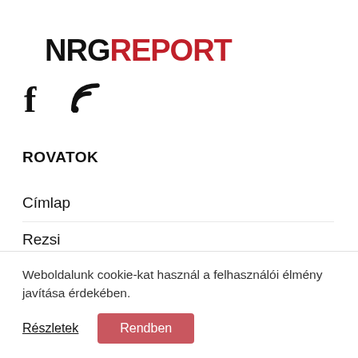NRGREPORT
[Figure (logo): Social media icons: Facebook (f) and RSS feed icon]
ROVATOK
Címlap
Rezsi
Elemzés
Szabályozás
Vállalatok
Weboldalunk cookie-kat használ a felhasználói élmény javítása érdekében.
Részletek  Rendben